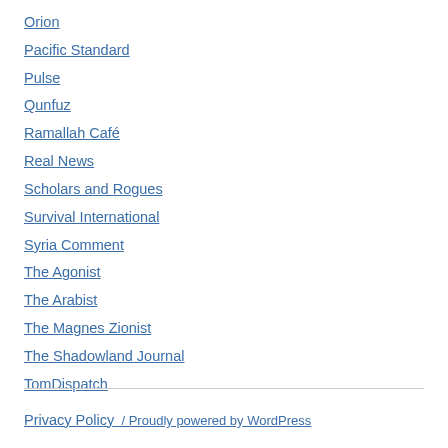Orion
Pacific Standard
Pulse
Qunfuz
Ramallah Café
Real News
Scholars and Rogues
Survival International
Syria Comment
The Agonist
The Arabist
The Magnes Zionist
The Shadowland Journal
TomDispatch
Privacy Policy  /  Proudly powered by WordPress